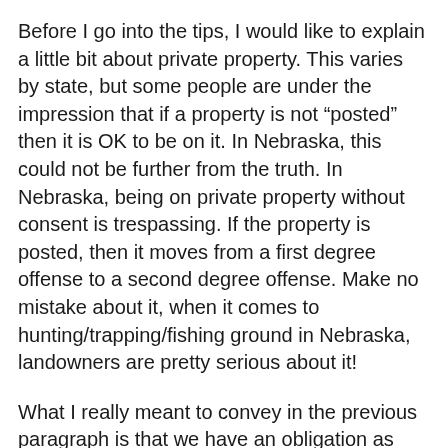Before I go into the tips, I would like to explain a little bit about private property.  This varies by state, but some people are under the impression that if a property is not “posted” then it is OK to be on it.  In Nebraska, this could not be further from the truth.  In Nebraska, being on private property without consent is trespassing.  If the property is posted, then it moves from a first degree offense to a second degree offense.   Make no mistake about it, when it comes to hunting/trapping/fishing ground in Nebraska, landowners are pretty serious about it!
What I really meant to convey in the previous paragraph is that we have an obligation as outdoorsmen and women to act responsibly and lead by example.
So you want to trap and you don’t have any place to do it?  How do you start?  The first thing to do is to mentally run through a list of all your relatives.  Brothers, sisters, aunts, uncles, friends, work acquaintances, family friends, anyone you know.  Do they own land?  Are they outdoorsmen?  Where do